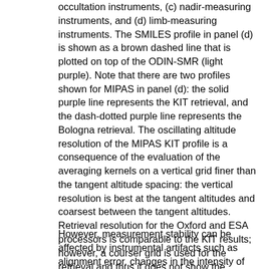occultation instruments, (c) nadir-measuring instruments, and (d) limb-measuring instruments. The SMILES profile in panel (d) is shown as a brown dashed line that is plotted on top of the ODIN-SMR (light purple). Note that there are two profiles shown for MIPAS in panel (d): the solid purple line represents the KIT retrieval, and the dash-dotted purple line represents the Bologna retrieval. The oscillating altitude resolution of the MIPAS KIT profile is a consequence of the evaluation of the averaging kernels on a vertical grid finer than the tangent altitude spacing: the vertical resolution is best at the tangent altitudes and coarsest between the tangent altitudes. Retrieval resolution for the Oxford and ESA processors is comparable to the KIT results; however, a courser grid is used for the retrieval and thus it does not show the oscillating features of the KIT processor. For more detail on the different MIPAS retrievals see Sect. 3.3.4.
However, measurement stability can be affected by instrumental artifacts such as alignment error, changes in the intensity of the lidar signals due to varying laser power, and varying atmospheric conditions (Godin-